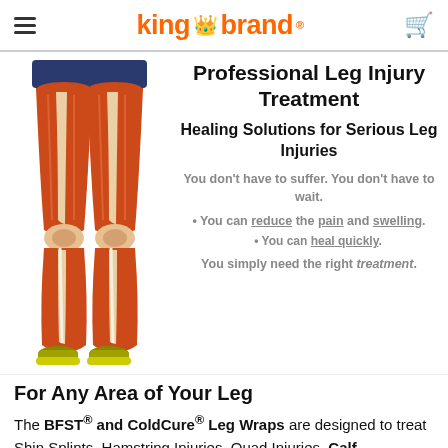king brand
[Figure (illustration): Anatomical illustration of human legs showing muscles and tendons, with a runner wearing yellow shoes]
Professional Leg Injury Treatment
Healing Solutions for Serious Leg Injuries
You don't have to suffer. You don't have to wait.
You can reduce the pain and swelling.
You can heal quickly.
You simply need the right treatment.
For Any Area of Your Leg
The BFST® and ColdCure® Leg Wraps are designed to treat Shin Splints, Hamstring Injuries, Quad Injuries, Calf